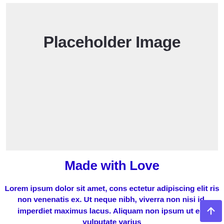[Figure (illustration): Light gray placeholder image box with the text 'Placeholder Image' centered near the top]
Made with Love
Lorem ipsum dolor sit amet, cons ectetur adipiscing elit ris non venenatis ex. Ut neque nibh, viverra non nisi id, imperdiet maximus lacus. Aliquam non ipsum ut est vulputate varius